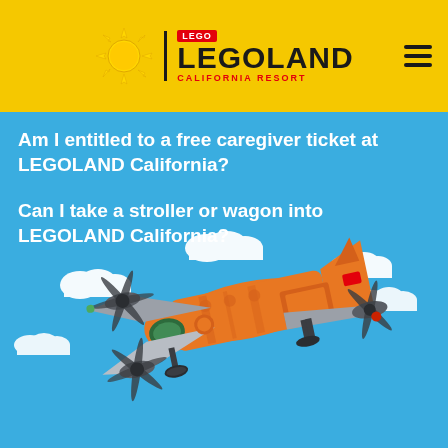LEGOLAND California Resort
Am I entitled to a free caregiver ticket at LEGOLAND California?
Can I take a stroller or wagon into LEGOLAND California?
[Figure (illustration): Orange LEGO City Arctic Supply Plane toy flying against blue sky background with white cartoon clouds]